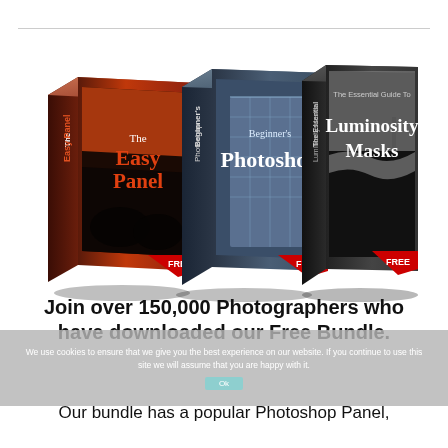[Figure (illustration): Three 3D software/book box products side by side: 'The Easy Panel' (left, dark red/orange tones), 'Beginner's Photoshop' (center, blue/steel tones), and 'The Essential Guide To Luminosity Masks' (right, dark/monochrome tones). Each box has a red 'FREE' banner on its bottom-right corner.]
Join over 150,000 Photographers who have downloaded our Free Bundle.
We use cookies to ensure that we give you the best experience on our website. If you continue to use this site we will assume that you are happy with it.
Our bundle has a popular Photoshop Panel,